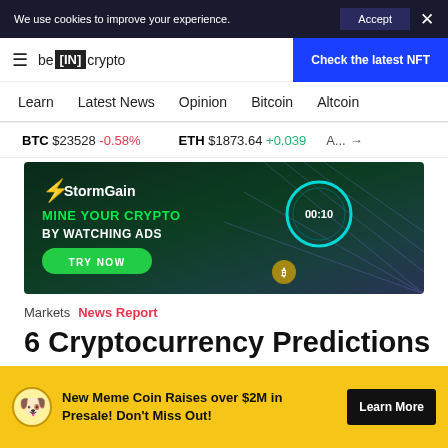We use cookies to improve your experience. Accept ×
be[IN]crypto  Check the latest NFT
Learn  Latest News  Opinion  Bitcoin  Altcoin
BTC $23528 -0.58%  ETH $1873.64 +0.039%  A... →
[Figure (infographic): StormGain advertisement: MINE YOUR CRYPTO BY WATCHING ADS - TRY NOW button, with countdown circle showing 00:10]
Markets  News Report
6 Cryptocurrency Predictions
New Meme Coin Raises over $2M in Presale! Don't Miss Out!  Learn More